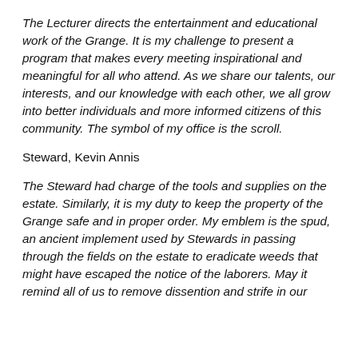The Lecturer directs the entertainment and educational work of the Grange. It is my challenge to present a program that makes every meeting inspirational and meaningful for all who attend. As we share our talents, our interests, and our knowledge with each other, we all grow into better individuals and more informed citizens of this community. The symbol of my office is the scroll.
Steward, Kevin Annis
The Steward had charge of the tools and supplies on the estate. Similarly, it is my duty to keep the property of the Grange safe and in proper order. My emblem is the spud, an ancient implement used by Stewards in passing through the fields on the estate to eradicate weeds that might have escaped the notice of the laborers. May it remind all of us to remove dissention and strife in our